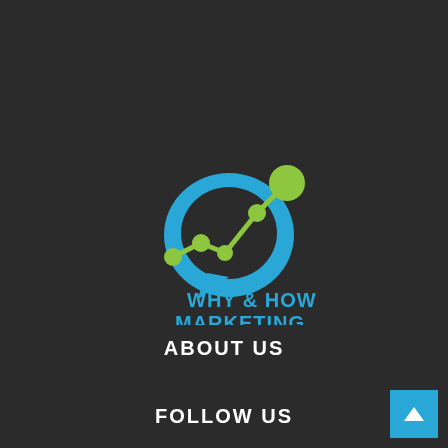[Figure (logo): Why & How Marketing logo: a blue speech bubble/chat icon with a green line chart (trend line with nodes) running through it, and a green circle at the top right. Below the icon is the text 'WHY & HOW MARKETING' in bold blue uppercase letters.]
ABOUT US
FOLLOW US